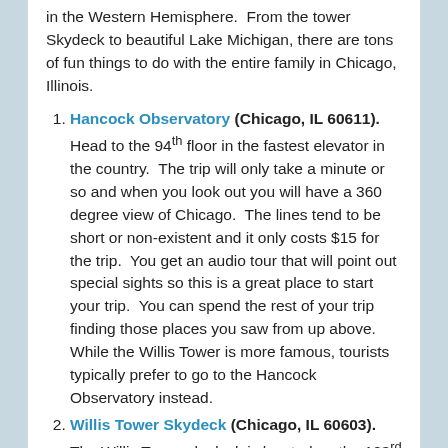in the Western Hemisphere.  From the tower Skydeck to beautiful Lake Michigan, there are tons of fun things to do with the entire family in Chicago, Illinois.
Hancock Observatory (Chicago, IL 60611).  Head to the 94th floor in the fastest elevator in the country.  The trip will only take a minute or so and when you look out you will have a 360 degree view of Chicago.  The lines tend to be short or non-existent and it only costs $15 for the trip.  You get an audio tour that will point out special sights so this is a great place to start your trip.  You can spend the rest of your trip finding those places you saw from up above.  While the Willis Tower is more famous, tourists typically prefer to go to the Hancock Observatory instead.
Willis Tower Skydeck (Chicago, IL 60603).  The Willis Tower skydeck is located on the 103rd floor and you will have the opportunity to stand out in a glass box, which is suspended on the side of the building, and look straight down.  An audio tour is available at no extra cost and will point out points of